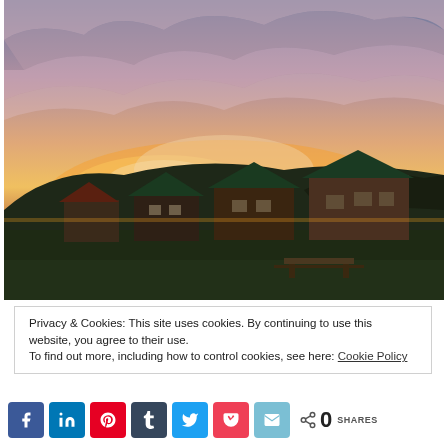[Figure (photo): Outdoor photo of wooden log cabins with green roofs set against a dramatic sunset sky with pink, orange, and purple clouds. Dark forested hills in the background, green lawn in foreground with a picnic table.]
Privacy & Cookies: This site uses cookies. By continuing to use this website, you agree to their use.
To find out more, including how to control cookies, see here: Cookie Policy
< 0 SHARES